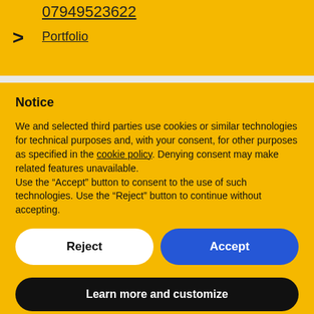07949523622
Portfolio
Notice
We and selected third parties use cookies or similar technologies for technical purposes and, with your consent, for other purposes as specified in the cookie policy. Denying consent may make related features unavailable.
Use the "Accept" button to consent to the use of such technologies. Use the "Reject" button to continue without accepting.
Reject
Accept
Learn more and customize